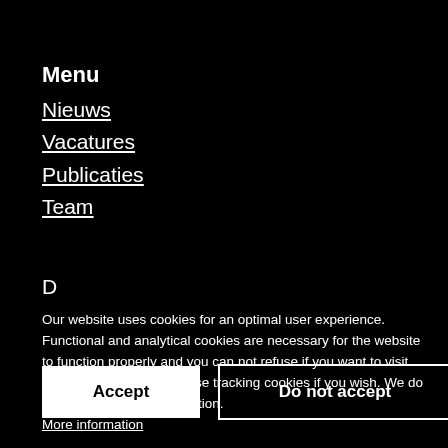Menu
Nieuws
Vacatures
Publicaties
Team
D…
Our website uses cookies for an optimal user experience. Functional and analytical cookies are necessary for the website to function properly and you can not refuse if you want to visit this website. You can refuse tracking cookies if you wish. We do not keep personal information.
More information
Accept
Do not accept